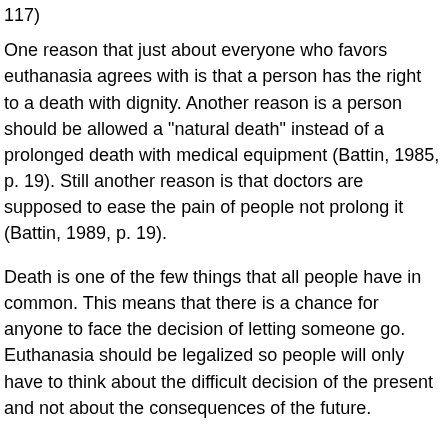117)
One reason that just about everyone who favors euthanasia agrees with is that a person has the right to a death with dignity. Another reason is a person should be allowed a "natural death" instead of a prolonged death with medical equipment (Battin, 1985, p. 19). Still another reason is that doctors are supposed to ease the pain of people not prolong it (Battin, 1989, p. 19).
Death is one of the few things that all people have in common. This means that there is a chance for anyone to face the decision of letting someone go. Euthanasia should be legalized so people will only have to think about the difficult decision of the present and not about the consequences of the future.